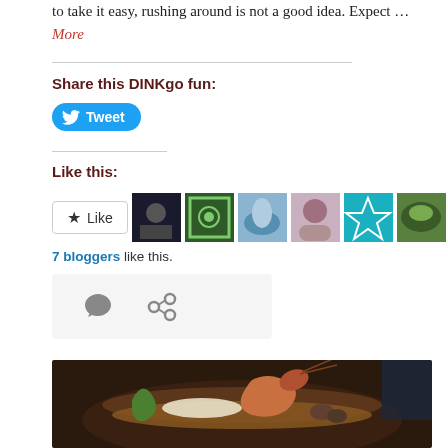to take it easy, rushing around is not a good idea. Expect … More
Share this DINKgo fun:
[Figure (other): Twitter Tweet button with bird icon on blue rounded rectangle background]
Like this:
[Figure (other): WordPress Like button with star icon and 7 blogger avatar thumbnails]
7 bloggers like this.
[Figure (other): Social sharing icons row: comment bubble and share/link icon on grey background]
[Figure (photo): Food photograph showing a bowl of seafood dish with large shrimp/prawns, rice, and broth in a dark metal pot]